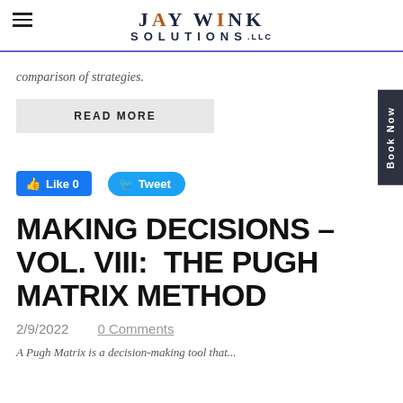JayWink Solutions, LLC
comparison of strategies.
READ MORE
Like 0   Tweet
MAKING DECISIONS – VOL. VIII:  THE PUGH MATRIX METHOD
2/9/2022   0 Comments
A Pugh Matrix is a decision-making tool that...